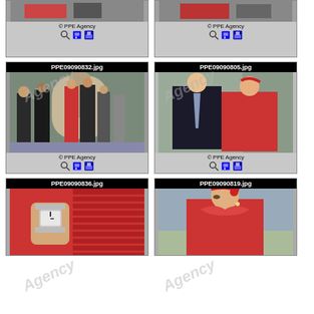[Figure (photo): Top-left card (partially visible): photo card with title and PPE Agency footer]
[Figure (photo): Top-right card (partially visible): photo card with PPE Agency footer]
[Figure (photo): PPE09090832.jpg - outdoor scene with people walking, woman in red dress, security personnel]
[Figure (photo): PPE09090805.jpg - man in suit and woman in red top posing together indoors]
[Figure (photo): PPE09090836.jpg - close-up of wrist/watch with red fabric]
[Figure (photo): PPE09090819.jpg - woman in red outfit with headband, looking sideways]